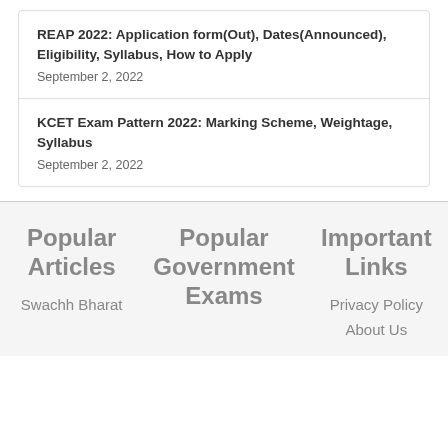REAP 2022: Application form(Out), Dates(Announced), Eligibility, Syllabus, How to Apply
September 2, 2022
KCET Exam Pattern 2022: Marking Scheme, Weightage, Syllabus
September 2, 2022
Popular Articles
Popular Government Exams
Important Links
Swachh Bharat
Privacy Policy
About Us